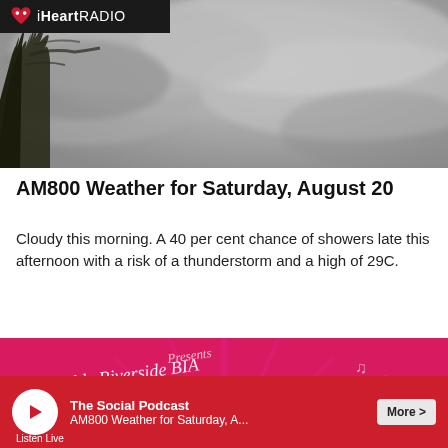[Figure (photo): Cloudy grey sky with silhouette of tree branches in the top-left corner, with the iHeartRADIO logo overlay in the top-left]
AM800 Weather for Saturday, August 20
Cloudy this morning. A 40 per cent chance of showers late this afternoon with a risk of a thunderstorm and a high of 29C.
[Figure (photo): Colorful promotional banner for 'Olde Riverside BIA' featuring a retro marquee sign with the text 'RIVERSIDE' on a pink/magenta background]
The Social Podcast | AM800 Weather for Saturday, A... | More > | Listen Live